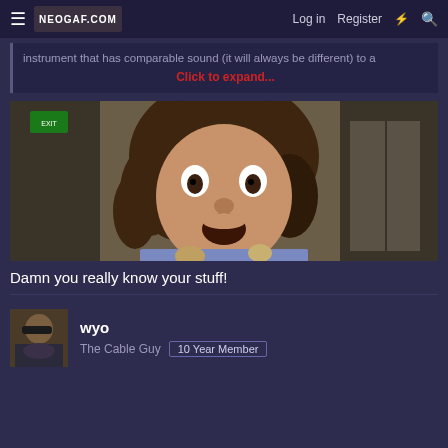≡  NEOGAF.COM   Log in   Register   ⚡   🔍
instrument that has comparable sound (it will always be different) to a   Click to expand...
[Figure (photo): A man with curly brown hair and a surprised/shocked expression, wearing a floral patterned shirt, standing in front of what appears to be an elevator door. The image appears to be from a TV show or movie, possibly 'Weird Al' Yankovic.]
Damn you really know your stuff!
wyo
The Cable Guy  10 Year Member